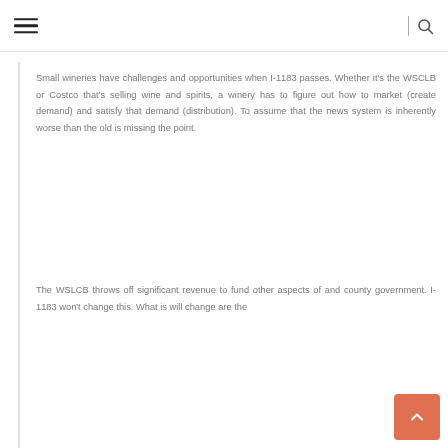≡  |  🔍
Small wineries have challenges and opportunities when I-1183 passes. Whether it's the WSCLB or Costco that's selling wine and spirits, a winery has to figure out how to market (create demand) and satisfy that demand (distribution). To assume that the news system is inherently worse than the old is missing the point.
The WSLCB throws off significant revenue to fund other aspects of and county government. I-1183 won't change this. What is will change are the